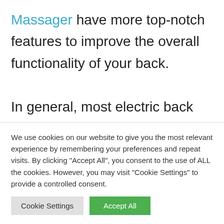Massager have more top-notch features to improve the overall functionality of your back.

In general, most electric back massagers come with so many features such as 3D and 2D shiatsu massaging options, heat and vibration, and compression to give
We use cookies on our website to give you the most relevant experience by remembering your preferences and repeat visits. By clicking "Accept All", you consent to the use of ALL the cookies. However, you may visit "Cookie Settings" to provide a controlled consent.